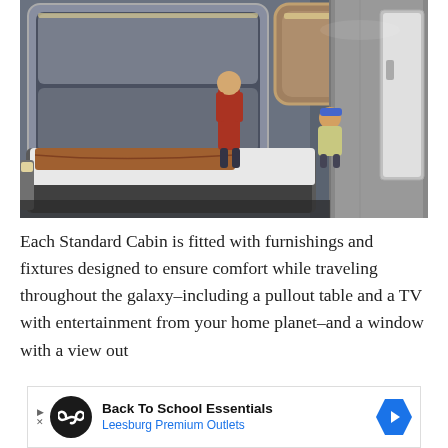[Figure (illustration): Rendered illustration of a Star Wars Galactic Starcruiser Standard Cabin interior showing a large bed with white and brown bedding, two animated-style characters (adult and child), bunk bed compartments with rounded rectangular openings, and a hallway corridor visible to the right. The room has a futuristic space-ship interior design with gray panels and warm lighting.]
Each Standard Cabin is fitted with furnishings and fixtures designed to ensure comfort while traveling throughout the galaxy–including a pullout table and a TV with entertainment from your home planet–and a window with a view out
[Figure (infographic): Advertisement banner for Back To School Essentials at Leesburg Premium Outlets. Contains a black circular icon with infinity/loop symbol, bold text 'Back To School Essentials', blue subtitle 'Leesburg Premium Outlets', and a blue hexagonal arrow pointing right.]